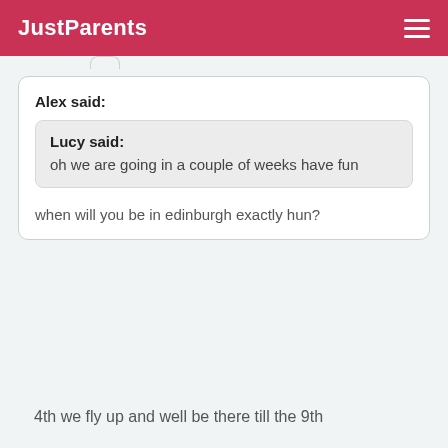JustParents
Alex said:
when will you be in edinburgh exactly hun?
Lucy said:
oh we are going in a couple of weeks have fun
4th we fly up and well be there till the 9th